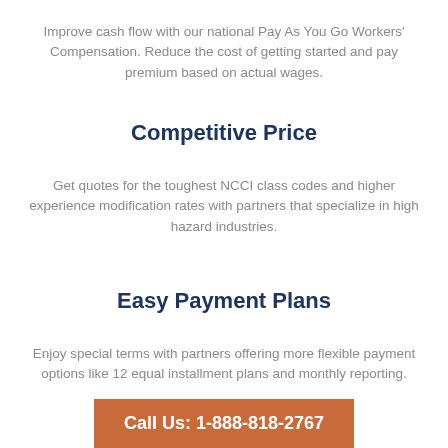Improve cash flow with our national Pay As You Go Workers' Compensation. Reduce the cost of getting started and pay premium based on actual wages.
Competitive Price
Get quotes for the toughest NCCI class codes and higher experience modification rates with partners that specialize in high hazard industries.
Easy Payment Plans
Enjoy special terms with partners offering more flexible payment options like 12 equal installment plans and monthly reporting.
Call Us: 1-888-818-2767